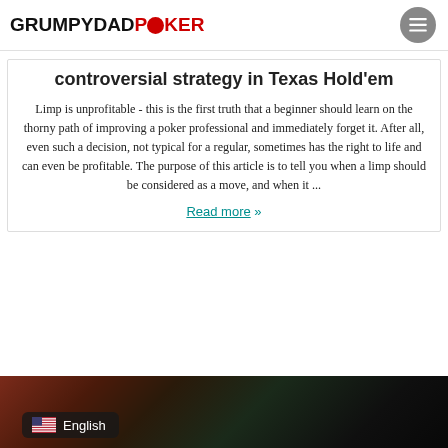GRUMPYDADPOKER
controversial strategy in Texas Hold'em
Limp is unprofitable - this is the first truth that a beginner should learn on the thorny path of improving a poker professional and immediately forget it. After all, even such a decision, not typical for a regular, sometimes has the right to life and can even be profitable. The purpose of this article is to tell you when a limp should be considered as a move, and when it ...
Read more »
[Figure (photo): Dark poker table scene with cards/hands visible, red and dark tones]